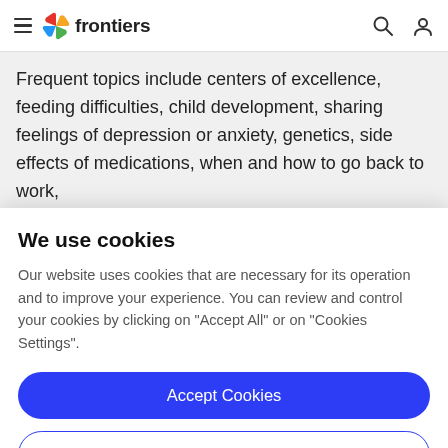frontiers
Frequent topics include centers of excellence, feeding difficulties, child development, sharing feelings of depression or anxiety, genetics, side effects of medications, when and how to go back to work,
We use cookies
Our website uses cookies that are necessary for its operation and to improve your experience. You can review and control your cookies by clicking on "Accept All" or on "Cookies Settings".
Accept Cookies
Cookies Settings